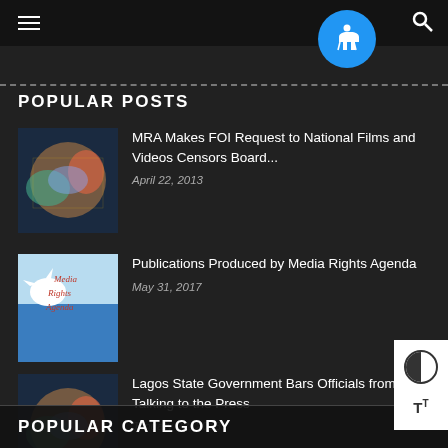POPULAR POSTS
MRA Makes FOI Request to National Films and Videos Censors Board... April 22, 2013
Publications Produced by Media Rights Agenda May 31, 2017
Lagos State Government Bars Officials from Talking to the Press January 22, 2013
POPULAR CATEGORY